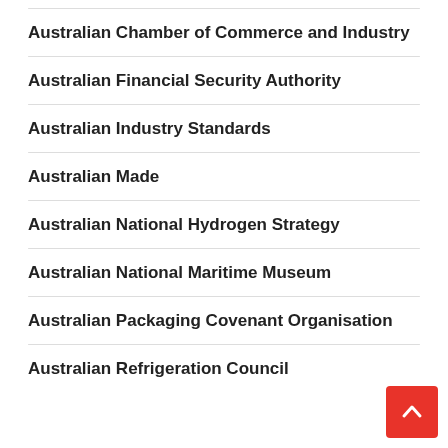Australian Chamber of Commerce and Industry
Australian Financial Security Authority
Australian Industry Standards
Australian Made
Australian National Hydrogen Strategy
Australian National Maritime Museum
Australian Packaging Covenant Organisation
Australian Refrigeration Council